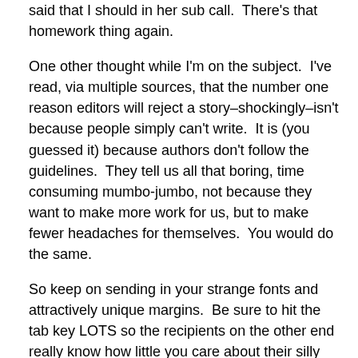said that I should in her sub call.  There's that homework thing again.
One other thought while I'm on the subject.  I've read, via multiple sources, that the number one reason editors will reject a story–shockingly–isn't because people simply can't write.  It is (you guessed it) because authors don't follow the guidelines.  They tell us all that boring, time consuming mumbo-jumbo, not because they want to make more work for us, but to make fewer headaches for themselves.  You would do the same.
So keep on sending in your strange fonts and attractively unique margins.  Be sure to hit the tab key LOTS so the recipients on the other end really know how little you care about their silly rules.  The most you will accomplish is you may cause a migraine for some poor souls who can't figure out how to make their formatting requirements